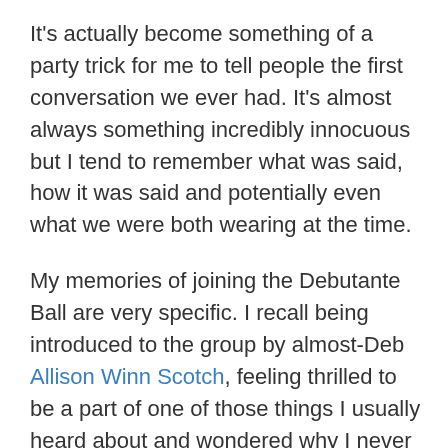It's actually become something of a party trick for me to tell people the first conversation we ever had. It's almost always something incredibly innocuous but I tend to remember what was said, how it was said and potentially even what we were both wearing at the time.
My memories of joining the Debutante Ball are very specific. I recall being introduced to the group by almost-Deb Allison Winn Scotch, feeling thrilled to be a part of one of those things I usually heard about and wondered why I never got to be involved in and then receiving a flurry of emails from incredibly motivated, funny and talented women. There was some joke about a shrimp that had to do with something that happened to Kristy on vacation and they all seemed to get and I didn't, since I was a latecomer to the group. A lot of